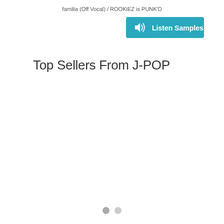familia (Off Vocal) / ROOKiEZ is PUNK'D
[Figure (other): Teal/blue 'Listen Samples' button with speaker icon]
Top Sellers From J-POP
[Figure (other): Pagination dots — two gray circles]